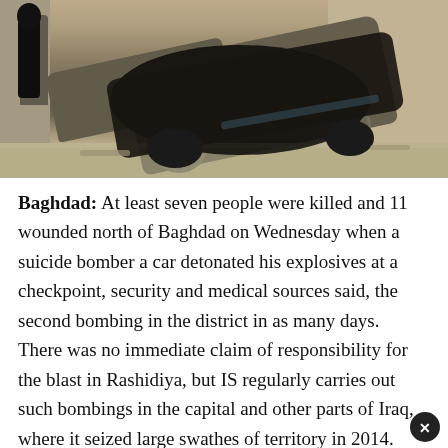[Figure (photo): A burned and wrecked car at a checkpoint, viewed from behind. A person in dark clothing walks past on the left. The vehicle appears heavily damaged and charred. The scene is outdoors on a paved surface.]
Baghdad: At least seven people were killed and 11 wounded north of Baghdad on Wednesday when a suicide bomber a car detonated his explosives at a checkpoint, security and medical sources said, the second bombing in the district in as many days. There was no immediate claim of responsibility for the blast in Rashidiya, but IS regularly carries out such bombings in the capital and other parts of Iraq, where it seized large swathes of territory in 2014. A similar attack in Rashidiya on Tuesday killed nine people.